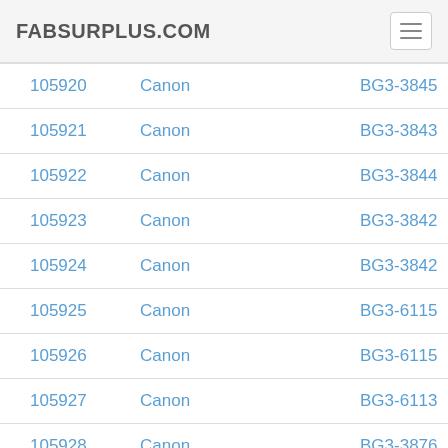FABSURPLUS.COM
| 105920 | Canon | BG3-3845 |
| 105921 | Canon | BG3-3843 |
| 105922 | Canon | BG3-3844 |
| 105923 | Canon | BG3-3842 |
| 105924 | Canon | BG3-3842 |
| 105925 | Canon | BG3-6115 |
| 105926 | Canon | BG3-6115 |
| 105927 | Canon | BG3-6113 |
| 105928 | Canon | BG3-3876 |
| 105929 | Canon | BG3-3878 |